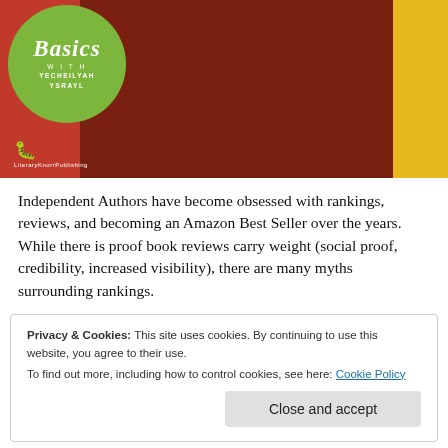[Figure (photo): Banner image showing a podcast or blog graphic with 'Basics with Yecheilyah Ysrayl' text on a green circle, a person in a red shirt, and a yellow background. LiteraryKnorrPublishing logo visible at bottom left.]
Independent Authors have become obsessed with rankings, reviews, and becoming an Amazon Best Seller over the years. While there is proof book reviews carry weight (social proof, credibility, increased visibility), there are many myths surrounding rankings.
Privacy & Cookies: This site uses cookies. By continuing to use this website, you agree to their use.
To find out more, including how to control cookies, see here: Cookie Policy
Close and accept
Yes, selling books will naturally raise your book